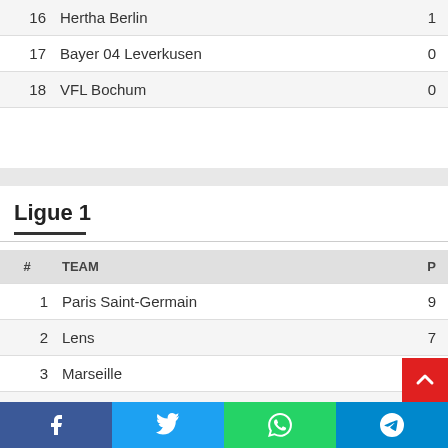| # | TEAM | P |
| --- | --- | --- |
| 16 | Hertha Berlin | 1 |
| 17 | Bayer 04 Leverkusen | 0 |
| 18 | VFL Bochum | 0 |
Ligue 1
| # | TEAM | P |
| --- | --- | --- |
| 1 | Paris Saint-Germain | 9 |
| 2 | Lens | 7 |
| 3 | Marseille | 7 |
| 4 | Lyon | 6 |
| 5 | Clermont | 6 |
| 6 | Toulouse | 5 |
| 7 | Brest |  |